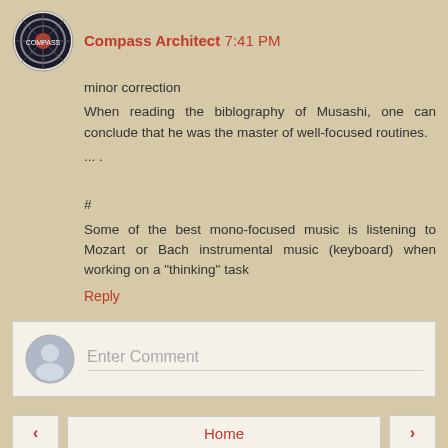Compass Architect 7:41 PM
minor correction
When reading the biblography of Musashi, one can conclude that he was the master of well-focused routines.
... .

#
Some of the best mono-focused music is listening to Mozart or Bach instrumental music (keyboard) when working on a "thinking" task
Reply
Enter Comment
Home
View web version